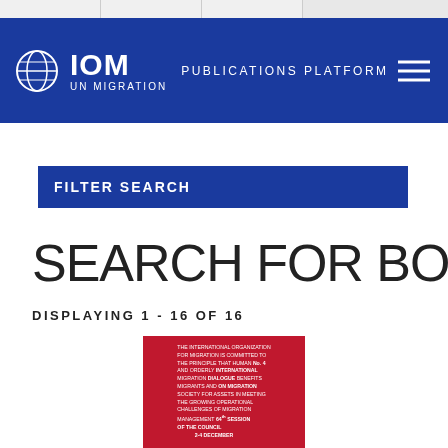IOM UN MIGRATION – PUBLICATIONS PLATFORM
FILTER SEARCH
SEARCH FOR BOOKS
DISPLAYING 1 - 16 OF 16
[Figure (illustration): Red book cover with white text relating to IOM International Dialogue on Migration publications and 64th session of the Council, 2-4 December]